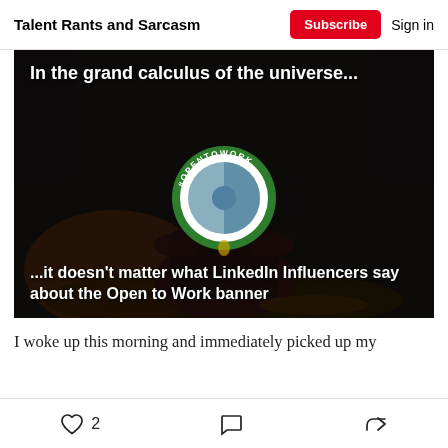Talent Rants and Sarcasm | Subscribe | Sign in
[Figure (photo): Meme image with dark background showing a figure with a LinkedIn OpenToWork green circle badge as their head, with white bold text overlay reading: 'In the grand calculus of the universe...' at the top and '...it doesn't matter what LinkedIn Influencers say about the Open to Work banner' at the bottom.]
I woke up this morning and immediately picked up my